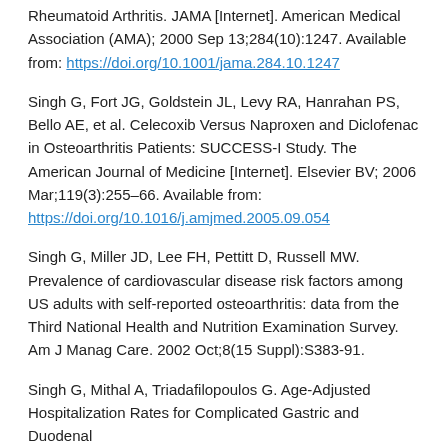Rheumatoid Arthritis. JAMA [Internet]. American Medical Association (AMA); 2000 Sep 13;284(10):1247. Available from: https://doi.org/10.1001/jama.284.10.1247
Singh G, Fort JG, Goldstein JL, Levy RA, Hanrahan PS, Bello AE, et al. Celecoxib Versus Naproxen and Diclofenac in Osteoarthritis Patients: SUCCESS-I Study. The American Journal of Medicine [Internet]. Elsevier BV; 2006 Mar;119(3):255–66. Available from: https://doi.org/10.1016/j.amjmed.2005.09.054
Singh G, Miller JD, Lee FH, Pettitt D, Russell MW. Prevalence of cardiovascular disease risk factors among US adults with self-reported osteoarthritis: data from the Third National Health and Nutrition Examination Survey. Am J Manag Care. 2002 Oct;8(15 Suppl):S383-91.
Singh G, Mithal A, Triadafilopoulos G. Age-Adjusted Hospitalization Rates for Complicated Gastric and Duodenal